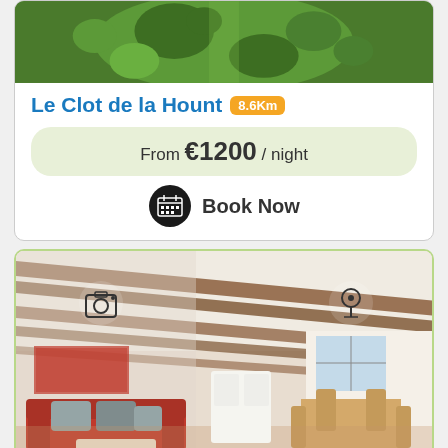[Figure (photo): Aerial view of green grass and trees, top portion of image card]
Le Clot de la Hount 8.6Km
From €1200 / night
Book Now
[Figure (photo): Interior photo of apartment showing living room with red sofa and dining area with wooden beamed ceiling]
Appartement Cauterets, 3 pièc